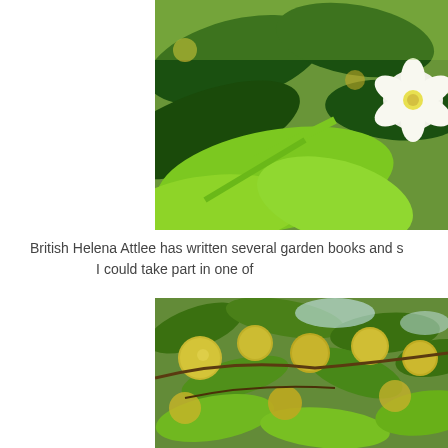[Figure (photo): Close-up photo of citrus tree with glossy dark green leaves, lighter bright green stems, and a white citrus blossom flower with yellow stamens visible on the right side.]
British Helena Attlee has written several garden books and s... I could take part in one of...
[Figure (photo): Photo of citrus tree heavily laden with round yellow-green fruit (likely yuzu or similar citrus), with green leaves and branches visible throughout.]